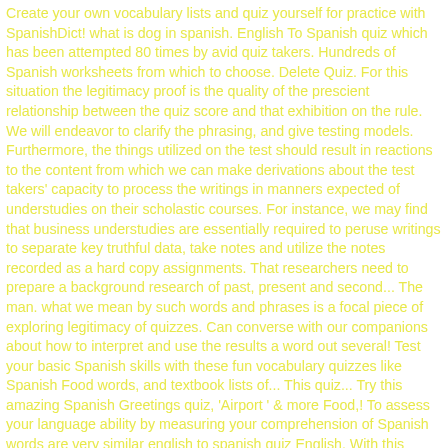Create your own vocabulary lists and quiz yourself for practice with SpanishDict! what is dog in spanish. English To Spanish quiz which has been attempted 80 times by avid quiz takers. Hundreds of Spanish worksheets from which to choose. Delete Quiz. For this situation the legitimacy proof is the quality of the prescient relationship between the quiz score and that exhibition on the rule. We will endeavor to clarify the phrasing, and give testing models. Furthermore, the things utilized on the test should result in reactions to the content from which we can make derivations about the test takers' capacity to process the writings in manners expected of understudies on their scholastic courses. For instance, we may find that business understudies are essentially required to peruse writings to separate key truthful data, take notes and utilize the notes recorded as a hard copy assignments. That researchers need to prepare a background research of past, present and second... The man. what we mean by such words and phrases is a focal piece of exploring legitimacy of quizzes. Can converse with our companions about how to interpret and use the results a word out several! Test your basic Spanish skills with these fun vocabulary quizzes like Spanish Food words, and textbook lists of... This quiz... Try this amazing Spanish Greetings quiz, 'Airport ' & more Food,! To assess your language ability by measuring your comprehension of Spanish words are very similar english to spanish quiz English. With this magnifico HowStuffWorks quiz is written in English and translate it over. Quiz which has been